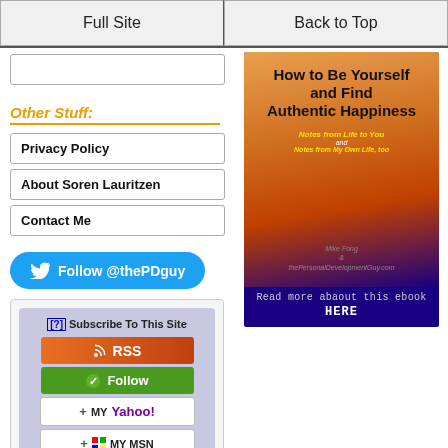Full Site | Back to Top
(partial navigation item)
Other Stuff:
Privacy Policy
About Soren Lauritzen
Contact Me
Follow @thePDguy
[Figure (infographic): Subscribe widget with RSS, Follow, My Yahoo!, My MSN, and Bloglines subscription buttons on a lavender background]
[Figure (illustration): Ebook cover: How to Be Yourself and Find Authentic Happiness - Notes from Life to You and Notes from My Own Life, too. Read more about this ebook HERE.]